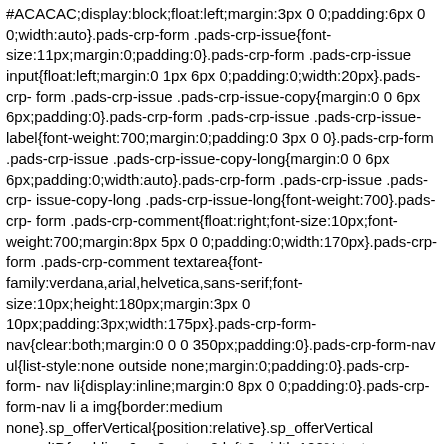#ACACAC;display:block;float:left;margin:3px 0 0;padding:6px 0 0;width:auto}.pads-crp-form .pads-crp-issue{font-size:11px;margin:0;padding:0}.pads-crp-form .pads-crp-issue input{float:left;margin:0 1px 6px 0;padding:0;width:20px}.pads-crp-form .pads-crp-issue .pads-crp-issue-copy{margin:0 0 6px 6px;padding:0}.pads-crp-form .pads-crp-issue .pads-crp-issue-label{font-weight:700;margin:0;padding:0 3px 0 0}.pads-crp-form .pads-crp-issue .pads-crp-issue-copy-long{margin:0 0 6px 6px;padding:0;width:auto}.pads-crp-form .pads-crp-issue .pads-crp-issue-copy-long .pads-crp-issue-long{font-weight:700}.pads-crp-form .pads-crp-comment{float:right;font-size:10px;font-weight:700;margin:8px 5px 0 0;padding:0;width:170px}.pads-crp-form .pads-crp-comment textarea{font-family:verdana,arial,helvetica,sans-serif;font-size:10px;height:180px;margin:3px 0 10px;padding:3px;width:175px}.pads-crp-form-nav{clear:both;margin:0 0 0 350px;padding:0}.pads-crp-form-nav ul{list-style:none outside none;margin:0;padding:0}.pads-crp-form-nav li{display:inline;margin:0 8px 0 0;padding:0}.pads-crp-form-nav li a img{border:medium none}.sp_offerVertical{position:relative}.sp_offerVertical .sp_adID{padding:6px 2px;top:0;left:0;width:100%;text-decoration:none;border-top:1px solid #6daee1;background-color:#f0f7fc;background-color:rgba(240,247,252,.8);border-bottom:1px dotted #6daee1;font-size:12px;position:absolute}.sp_offerVertical .sp_adID a{text-decoration:none;display:block;line-height:12px;background:url(https://images-na.ssl-images-